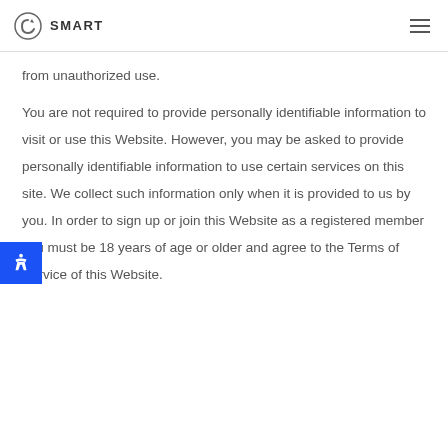SMART
from unauthorized use.
You are not required to provide personally identifiable information to visit or use this Website. However, you may be asked to provide personally identifiable information to use certain services on this site. We collect such information only when it is provided to us by you. In order to sign up or join this Website as a registered member you must be 18 years of age or older and agree to the Terms of Service of this Website.